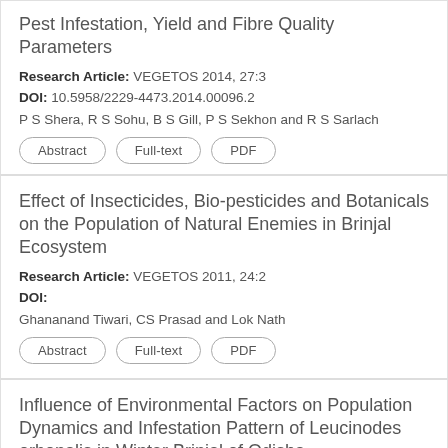Pest Infestation, Yield and Fibre Quality Parameters
Research Article: VEGETOS 2014, 27:3
DOI: 10.5958/2229-4473.2014.00096.2
P S Shera, R S Sohu, B S Gill, P S Sekhon and R S Sarlach
Effect of Insecticides, Bio-pesticides and Botanicals on the Population of Natural Enemies in Brinjal Ecosystem
Research Article: VEGETOS 2011, 24:2
DOI:
Ghananand Tiwari, CS Prasad and Lok Nath
Influence of Environmental Factors on Population Dynamics and Infestation Pattern of Leucinodes orbonalis in Winter Brinjal of Odisha
Research Article: VEGETOS 2014, 27:3